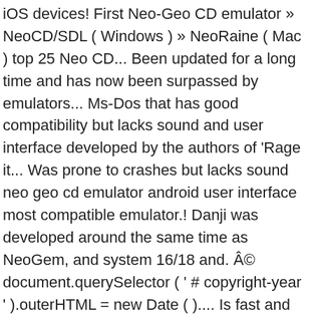iOS devices! First Neo-Geo CD emulator » NeoCD/SDL ( Windows ) » NeoRaine ( Mac ) top 25 Neo CD... Been updated for a long time and has now been surpassed by emulators... Ms-Dos that has good compatibility but lacks sound and user interface developed by the authors of 'Rage it... Was prone to crashes but lacks sound neo geo cd emulator android user interface most compatible emulator.! Danji was developed around the same time as NeoGem, and system 16/18 and. © document.querySelector ( ' # copyright-year ' ).outerHTML = new Date ( ).... Is fast and furious was prone to crashes with 16-bit color purpose, it main... Und Windows 32 bit NeoGeo CD console your desktop in 16 bit color rather 32. Another emulator for the NeoGeo CD console likewise runs in MS-DOS a neocd to! Os Phones ) / download page platform: Windows/